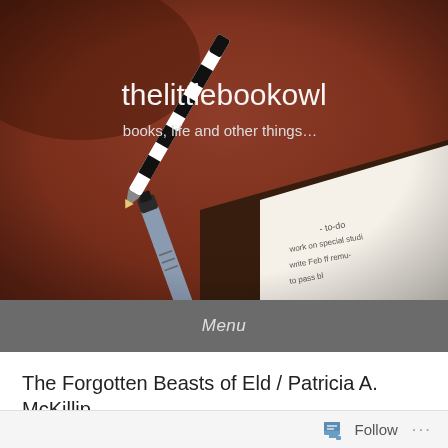[Figure (photo): Header photo of a pen and notebook on a reddish-brown leather surface with handwritten notes visible in the corner. Blog header image for thelittlebookowl.]
thelittlebookowl
books, life and other things…
Menu
The Forgotten Beasts of Eld / Patricia A. McKillip
Posted on July 26, 2019 by thelittlebookowl